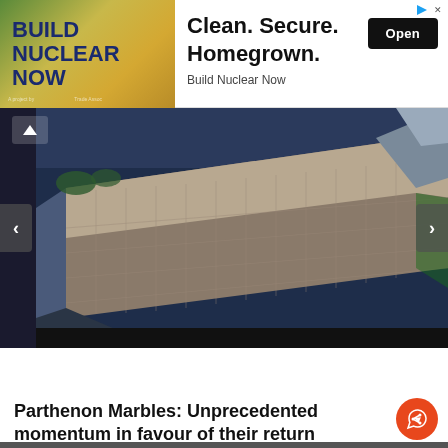[Figure (infographic): Advertisement banner: BUILD NUCLEAR NOW with aerial building photo. Clean. Secure. Homegrown. Build Nuclear Now with Open button.]
[Figure (photo): Aerial view of a large modern rectangular building, likely the Acropolis Museum in Athens, Greece, seen from above at an angle. The building has a distinctive latticed/gridded facade.]
FEATURED POST
Parthenon Marbles: Unprecedented momentum in favour of their return
The issue of the return of the Parthenon Sculptures has acquired a special dynamic in recent months, as the den of articles in the UK me...